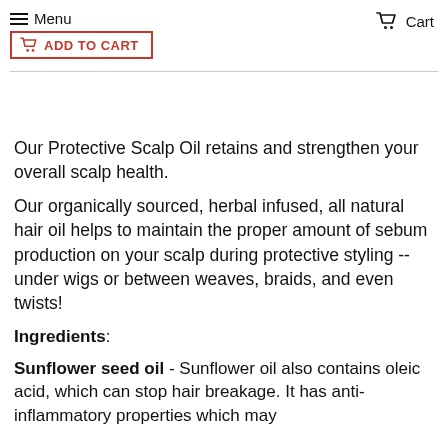≡ Menu  ADD TO CART   Cart
Our Protective Scalp Oil retains and strengthen your overall scalp health.
Our organically sourced, herbal infused, all natural hair oil helps to maintain the proper amount of sebum production on your scalp during protective styling -- under wigs or between weaves, braids, and even twists!
Ingredients:
Sunflower seed oil - Sunflower oil also contains oleic acid, which can stop hair breakage. It has anti-inflammatory properties which may